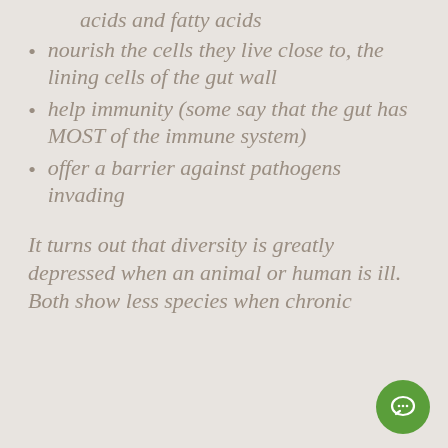acids and fatty acids
nourish the cells they live close to, the lining cells of the gut wall
help immunity (some say that the gut has MOST of the immune system)
offer a barrier against pathogens invading
It turns out that diversity is greatly depressed when an animal or human is ill. Both show less species when chronic